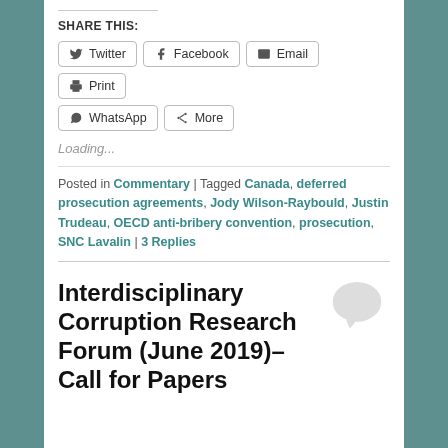SHARE THIS:
[Figure (infographic): Social share buttons: Twitter, Facebook, Email, Print, WhatsApp, More]
Loading...
Posted in Commentary | Tagged Canada, deferred prosecution agreements, Jody Wilson-Raybould, Justin Trudeau, OECD anti-bribery convention, prosecution, SNC Lavalin | 3 Replies
Interdisciplinary Corruption Research Forum (June 2019)–Call for Papers